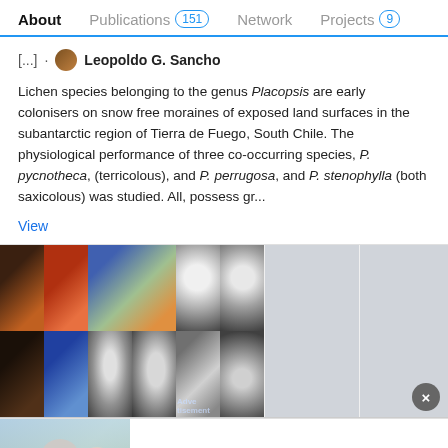About  Publications 151  Network  Projects 9
[...] · Leopoldo G. Sancho
Lichen species belonging to the genus Placopsis are early colonisers on snow free moraines of exposed land surfaces in the subantarctic region of Tierra de Fuego, South Chile. The physiological performance of three co-occurring species, P. pycnotheca, (terricolous), and P. perrugosa, and P. stenophylla (both saxicolous) was studied. All, possess gr...
View
[Figure (photo): Grid of microscope/nature images of lichen species]
ResearchGate
Searching for qualified engineers?